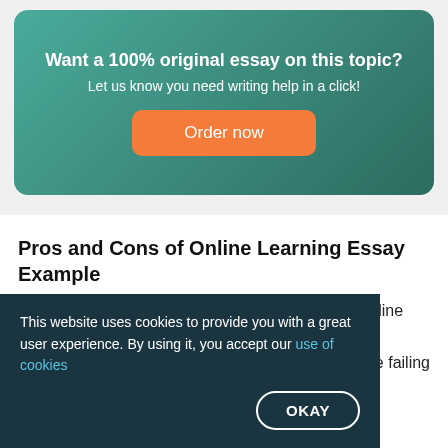Want a 100% original essay on this topic?
Let us know you need writing help in a click!
Order now
Pros and Cons of Online Learning Essay Example
Are we failing our children with online learning? Online schooling is when students work their assigned …are failing
This website uses cookies to provide you with a great user experience. By using it, you accept our use of cookies
OKAY
Words: 608    Pages: 3